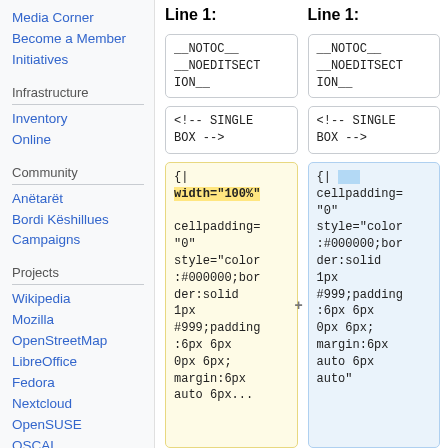Media Corner
Become a Member
Initiatives
Infrastructure
Inventory
Online
Community
Anëtarët
Bordi Këshillues
Campaigns
Projects
Wikipedia
Mozilla
OpenStreetMap
LibreOffice
Fedora
Nextcloud
OpenSUSE
OSCAL
Line 1:
Line 1:
__NOTOC__
__NOEDITSECTION__
__NOTOC__
__NOEDITSECTION__
<!-- SINGLE BOX -->
<!-- SINGLE BOX -->
{|
width="100%"
cellpadding="0"
style="color:#000000;border:solid 1px #999;padding:6px 6px 0px 6px;
margin:6px auto 6px...
{|
cellpadding="0"
style="color:#000000;border:solid 1px #999;padding:6px 6px 0px 6px;
margin:6px auto 6px auto"